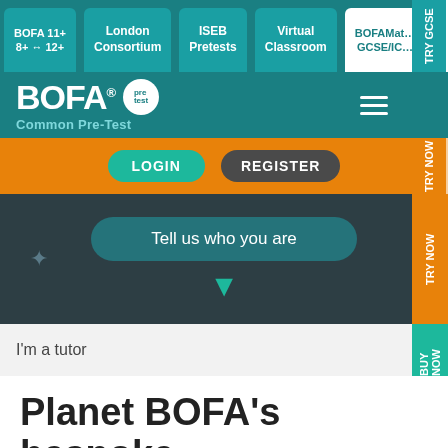[Figure (screenshot): BOFA Common Pre-Test website screenshot showing navigation tabs (BOFA 11+ 8+↔12+, London Consortium, ISEB Pretests, Virtual Classroom, BOFAMaths GCSE/ICE), logo with pre-test badge, orange bar with LOGIN and REGISTER buttons, dark panel with 'Tell us who you are' prompt and down arrow, input field 'I'm a tutor', side tabs (TRY GCSE, TRY NOW, BUY NOW), and partial heading 'Planet BOFA's bespoke online teaching system']
Planet BOFA's bespoke online teaching system